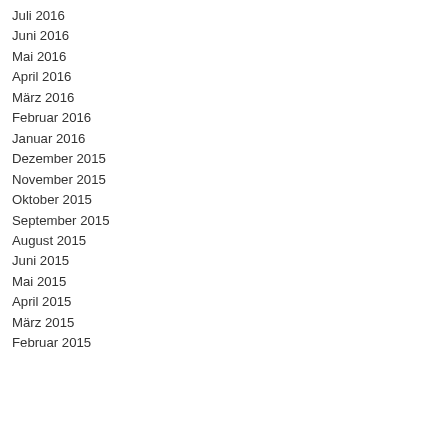Juli 2016
Juni 2016
Mai 2016
April 2016
März 2016
Februar 2016
Januar 2016
Dezember 2015
November 2015
Oktober 2015
September 2015
August 2015
Juni 2015
Mai 2015
April 2015
März 2015
Februar 2015